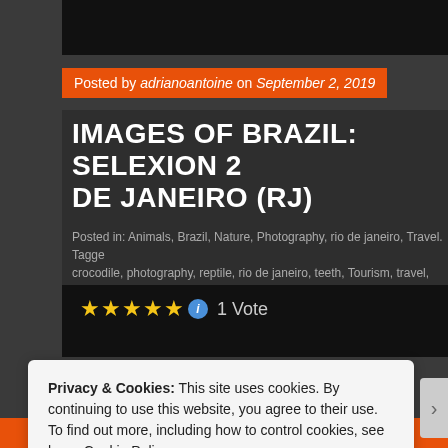Posted by adrianoantoine on September 2, 2019
IMAGES OF BRAZIL: SELEXION 2 DE JANEIRO (RJ)
Posted in: Animals, Brazil, Nature, Photography, rio de janeiro, Travel. Tagged: crocodile, photography, reptile, rio de janeiro, teeth, Tourism, travel, zoo. Lea
[Figure (other): Five gold/yellow star rating icons followed by an info icon and '1 Vote' text]
Privacy & Cookies: This site uses cookies. By continuing to use this website, you agree to their use.
To find out more, including how to control cookies, see here: Cookie Policy
Close and accept
Search, browse and